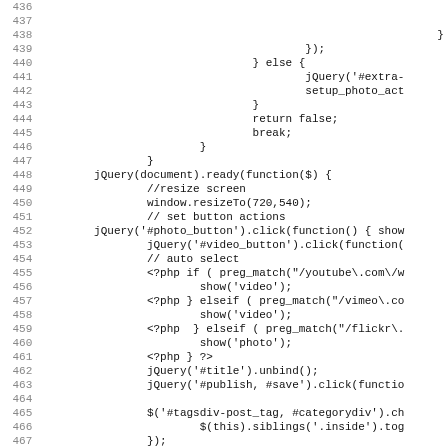Code listing lines 436-467, showing JavaScript/PHP code including jQuery document ready functions, window resizeTo, button click handlers, and PHP preg_match conditionals.